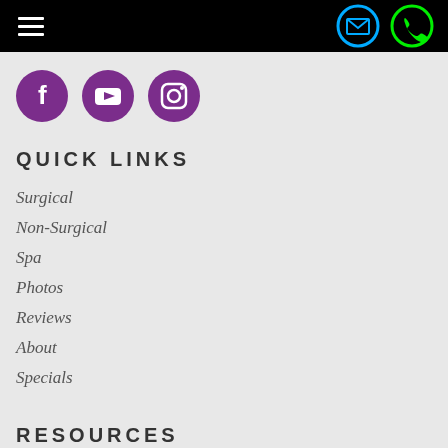Navigation bar with hamburger menu, email icon, and phone icon
[Figure (logo): Three purple circular social media icons: Facebook, YouTube, Instagram]
QUICK LINKS
Surgical
Non-Surgical
Spa
Photos
Reviews
About
Specials
RESOURCES